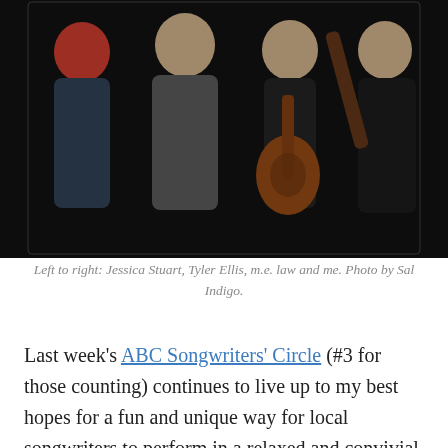[Figure (photo): Group photo of four people standing together. From left to right: a woman with red hair wearing a dark top, a man in a grey graphic t-shirt, a woman in black holding an acoustic guitar, and a man in a white shirt and dark vest holding a guitar neck. Dark background.]
Left to right: Jessica Stuart, Tyler Ellis, m.e. law and me. Photo by Sal Indigo.
Last week's ABC Songwriters' Circle (#3 for those counting) continues to live up to my best hopes for a fun and unique way for local songwriters to perform in a relaxed and convivial atmosphere. Thanks to m.e. law,